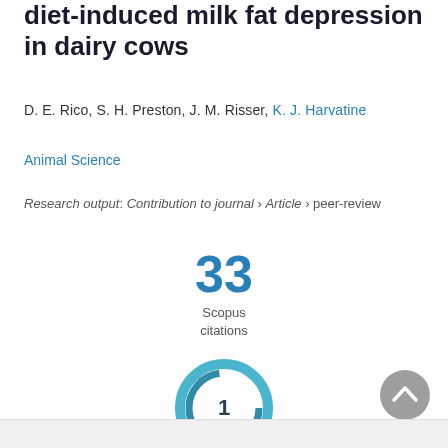diet-induced milk fat depression in dairy cows
D. E. Rico, S. H. Preston, J. M. Risser, K. J. Harvatine
Animal Science
Research output: Contribution to journal › Article › peer-review
33 Scopus citations
[Figure (other): Altmetric donut badge showing score of 1, rendered as a teal/blue circular ring with white center showing the number 1]
[Figure (other): Scroll-to-top button, grey circle with upward chevron arrow]